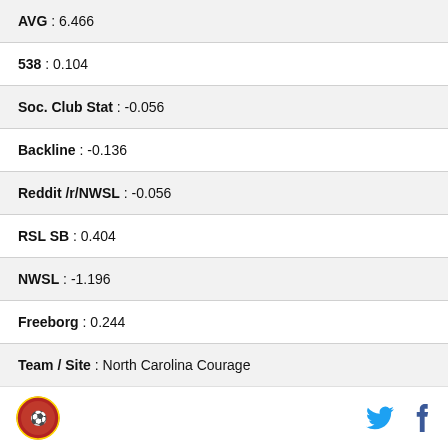AVG : 6.466
538 : 0.104
Soc. Club Stat : -0.056
Backline : -0.136
Reddit /r/NWSL : -0.056
RSL SB : 0.404
NWSL : -1.196
Freeborg : 0.244
Team / Site : North Carolina Courage
AVG : 2.305
538 : -1.005
Logo | Twitter | Facebook